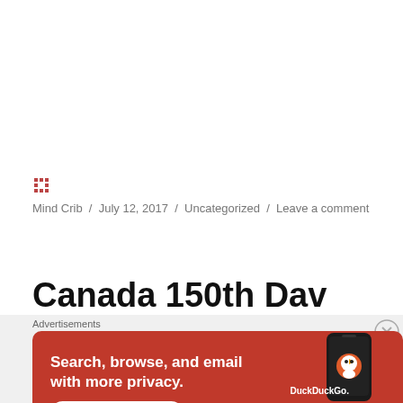Mind Crib / July 12, 2017 / Uncategorized / Leave a comment
Canada 150th Dav
Advertisements
[Figure (screenshot): DuckDuckGo advertisement banner with orange background. Text: 'Search, browse, and email with more privacy. All in One Free App'. Shows a smartphone with DuckDuckGo logo.]